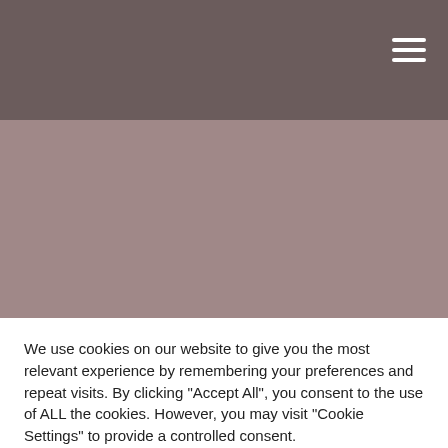[Figure (screenshot): Dark brownish-grey header bar with hamburger menu icon (three white horizontal lines) in top-right corner]
[Figure (screenshot): Lighter mauve/dusty rose colored banner area below the dark header]
We use cookies on our website to give you the most relevant experience by remembering your preferences and repeat visits. By clicking "Accept All", you consent to the use of ALL the cookies. However, you may visit "Cookie Settings" to provide a controlled consent.
Cookie Settings
Accept All